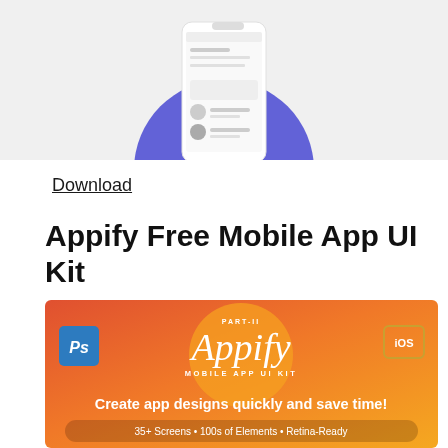[Figure (screenshot): Top portion of a mobile app UI mockup screenshot showing a smartphone with blue circular background element and app interface visible]
Download
Appify Free Mobile App UI Kit
[Figure (illustration): Appify Mobile App UI Kit banner with orange-red gradient background. Shows Photoshop Ps logo on left, iOS badge on right, large italic Appify text in center with PART-II label above and MOBILE APP UI KIT below. Tagline: Create app designs quickly and save time! Features: 35+ Screens • 100s of Elements • Retina-Ready]